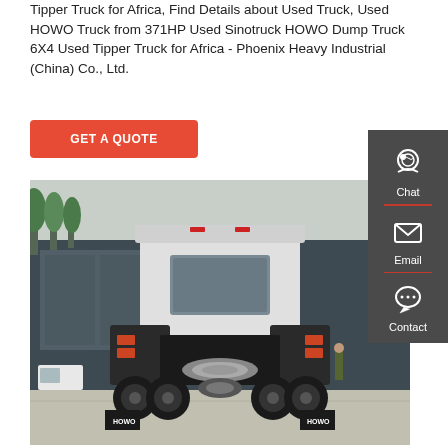Tipper Truck for Africa, Find Details about Used Truck, Used HOWO Truck from 371HP Used Sinotruck HOWO Dump Truck 6X4 Used Tipper Truck for Africa - Phoenix Heavy Industrial (China) Co., Ltd.
GET A QUOTE
[Figure (photo): Rear view of a white HOWO dump truck/tipper truck parked in front of a dark industrial building with trees visible, HOWO branding on mudflaps]
[Figure (infographic): Dark gray sidebar with Chat (headset icon), Email (envelope icon), and Contact (speech bubble icon) options with red dividers]